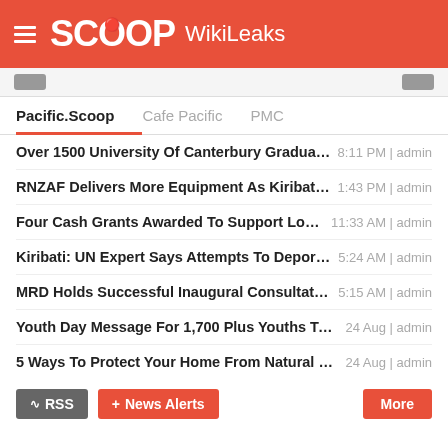SCOOP WikiLeaks
Pacific.Scoop | Cafe Pacific | PMC
Over 1500 University Of Canterbury Graduates Get R... 8:11 PM | admin
RNZAF Delivers More Equipment As Kiribati Battles ... 1:43 PM | admin
Four Cash Grants Awarded To Support Local Writers 11:33 AM | admin
Kiribati: UN Expert Says Attempts To Deport High C... 5:24 AM | admin
MRD Holds Successful Inaugural Consultation On CD ... 5:15 AM | admin
Youth Day Message For 1,700 Plus Youths To Become ... 24 Aug | admin
5 Ways To Protect Your Home From Natural Disasters 24 Aug | admin
RSS  News Alerts  More
WORLD SECTION